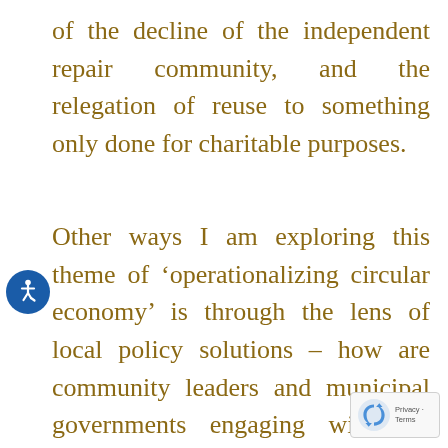of the decline of the independent repair community, and the relegation of reuse to something only done for charitable purposes.
Other ways I am exploring this theme of 'operationalizing circular economy' is through the lens of local policy solutions – how are community leaders and municipal governments engaging with the ideas of circular economy to move it forward in w that respect local conditions
[Figure (other): Accessibility icon - blue circle with white wheelchair user symbol]
[Figure (other): Google reCAPTCHA badge with Privacy and Terms links]